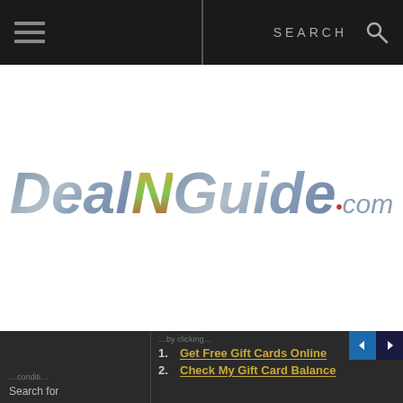Navigation bar with hamburger menu and SEARCH
[Figure (logo): DealNGuide.com logo in large stylized italic text with gradient coloring on a white background]
1. Get Free Gift Cards Online
2. Check My Gift Card Balance
Search for